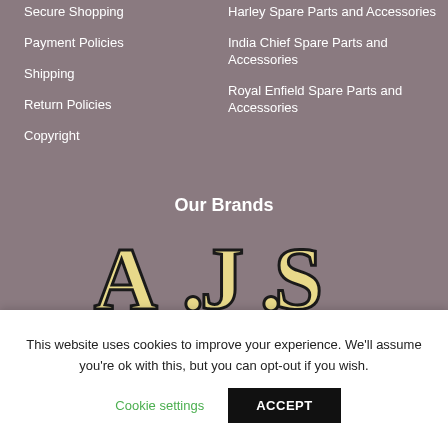Secure Shopping
Payment Policies
Shipping
Return Policies
Copyright
Harley Spare Parts and Accessories
India Chief Spare Parts and Accessories
Royal Enfield Spare Parts and Accessories
Our Brands
[Figure (logo): A.J.S brand logo in cream/gold ornate letters with black outline on mauve/taupe background]
This website uses cookies to improve your experience. We'll assume you're ok with this, but you can opt-out if you wish.
Cookie settings   ACCEPT